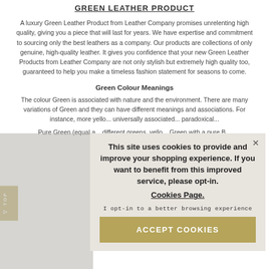Green Leather Product
A luxury Green Leather Product from Leather Company promises unrelenting high quality, giving you a piece that will last for years. We have expertise and commitment to sourcing only the best leathers as a company. Our products are collections of only genuine, high-quality leather. It gives you confidence that your new Green Leather Products from Leather Company are not only stylish but extremely high quality too, guaranteed to help you make a timeless fashion statement for seasons to come.
Green Colour Meanings
The colour Green is ... variations of Gre... instance, more yell... universally associated... paradoxical...
Pure Green (equal a... different greens, yell... Green with a pure B...
This site uses cookies to provide and improve your shopping experience. If you want to benefit from this improved service, please opt-in. Cookies Page. I opt-in to a better browsing experience ACCEPT COOKIES